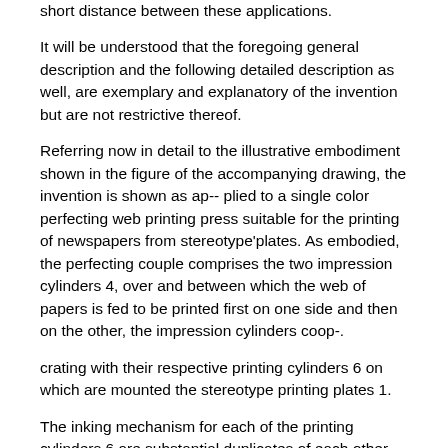short distance between these applications.
It will be understood that the foregoing general description and the following detailed description as well, are exemplary and explanatory of the invention but are not restrictive thereof.
Referring now in detail to the illustrative embodiment shown in the figure of the accompanying drawing, the invention is shown as ap-- plied to a single color perfecting web printing press suitable for the printing of newspapers from stereotype'plates. As embodied, the perfecting couple comprises the two impression cylinders 4, over and between which the web of papers is fed to be printed first on one side and then on the other, the impression cylinders coop-.
crating with their respective printing cylinders 6 on which are mounted the stereotype printing plates 1.
The inking mechanism for each of the printing cylinders 6 are substantial duplicates of each other, and for that reason only one will be described in detail. As shown in the drawing, a portion of the device has been removed from